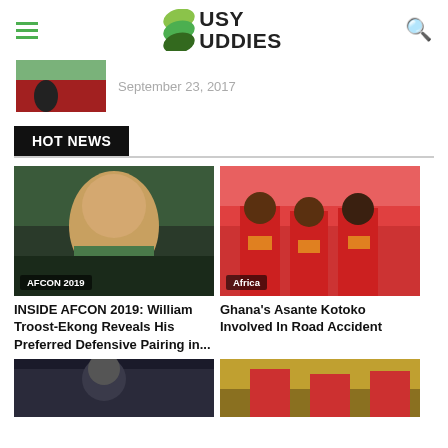Busy Buddies
September 23, 2017
HOT NEWS
[Figure (photo): Soccer player in red uniform on field]
INSIDE AFCON 2019: William Troost-Ekong Reveals His Preferred Defensive Pairing in...
[Figure (photo): Ghana's Asante Kotoko football players in red jerseys celebrating]
Ghana's Asante Kotoko Involved In Road Accident
[Figure (photo): Basketball player partial view at bottom]
[Figure (photo): Sports scene partial view at bottom right]